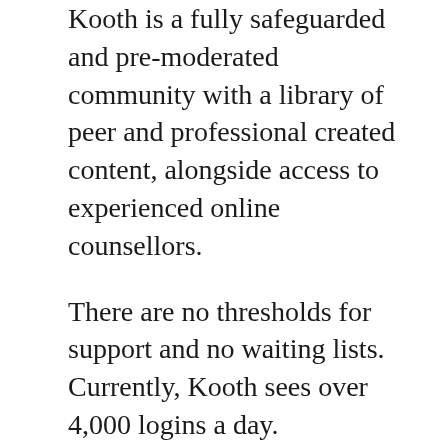Kooth is a fully safeguarded and pre-moderated community with a library of peer and professional created content, alongside access to experienced online counsellors.
There are no thresholds for support and no waiting lists. Currently, Kooth sees over 4,000 logins a day.
Kooth Student is aimed at university students and is commissioned by three UK universities.
Qwell operates across distinct locations and serves specific cohorts, including parents, teachers, victims of crime and those who have suffered from or continue to experience domestic violence. It is also offered as a benefit by a number of corporate organisations delivering anonymous digital mental health support services to employees.
Kooth recently launched the #DontDoItAlone